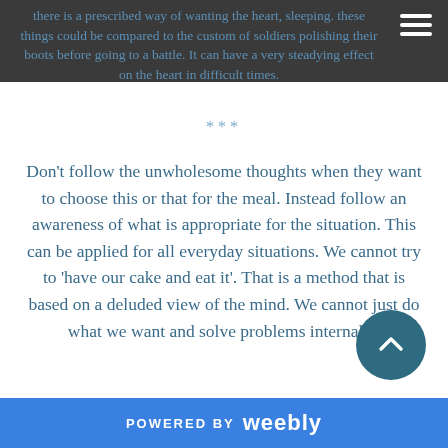there is a prescribed way of wanting the heart, sleeping. these things could be compared to the custom of soldiers polishing their boots before going to a battle. It can have a very steadying effect on the heart in difficult times.
***
Don't follow the unwholesome thoughts when they want to choose this or that for the meal. Instead follow an awareness of what is appropriate for the situation. This can be applied for all everyday situations. We cannot try to 'have our cake and eat it'. That is a method that is based on a deluded view of the mind. We cannot just do what we want and solve problems internally.
POWERED BY weebly